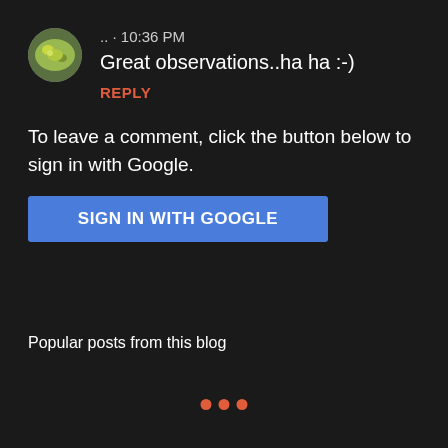[Figure (photo): Circular avatar image of a food dish (green/yellow colored food)]
.. · 10:36 PM
Great observations..ha ha :-)
REPLY
To leave a comment, click the button below to sign in with Google.
SIGN IN WITH GOOGLE
Popular posts from this blog
[Figure (other): Three orange dots arranged horizontally]